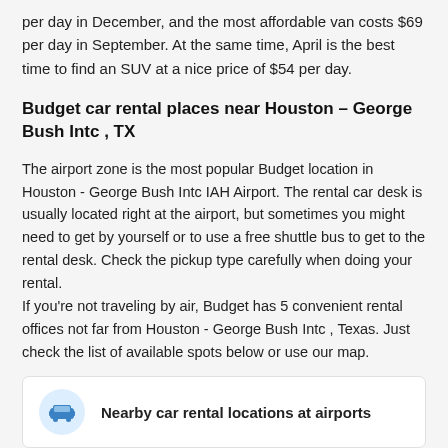per day in December, and the most affordable van costs $69 per day in September. At the same time, April is the best time to find an SUV at a nice price of $54 per day.
Budget car rental places near Houston – George Bush Intc , TX
The airport zone is the most popular Budget location in Houston - George Bush Intc IAH Airport. The rental car desk is usually located right at the airport, but sometimes you might need to get by yourself or to use a free shuttle bus to get to the rental desk. Check the pickup type carefully when doing your rental.
If you're not traveling by air, Budget has 5 convenient rental offices not far from Houston - George Bush Intc , Texas. Just check the list of available spots below or use our map.
Nearby car rental locations at airports